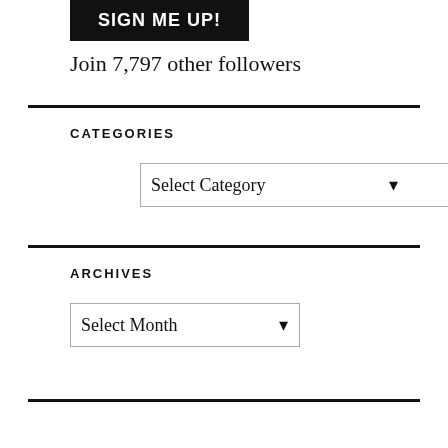SIGN ME UP!
Join 7,797 other followers
CATEGORIES
Select Category
ARCHIVES
Select Month